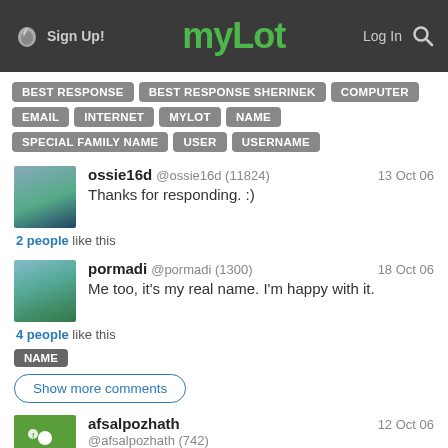myLot — Sign Up! Log In
BEST RESPONSE
BEST RESPONSE SHERINEK
COMPUTER
EMAIL
INTERNET
MYLOT
NAME
SPECIAL FAMILY NAME
USER
USERNAME
ossie16d @ossie16d (11824) — 13 Oct 06
Thanks for responding. :)
2 people like this
pormadi @pormadi (1300) — 18 Oct 06
Me too, it's my real name. I'm happy with it.
4 people like this
NAME
Show more comments
afsalpozhath @afsalpozhath (742) — 12 Oct 06
it reflects my character